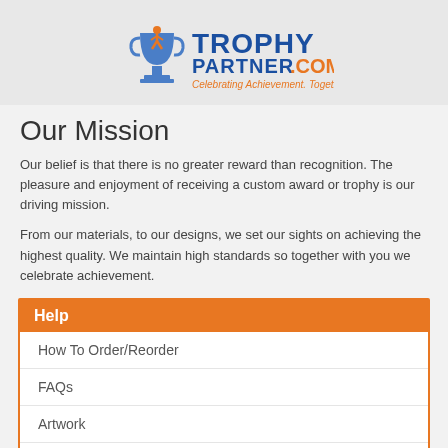[Figure (logo): TrophyPartner.com logo with trophy icon and tagline 'Celebrating Achievement. Together.']
Our Mission
Our belief is that there is no greater reward than recognition. The pleasure and enjoyment of receiving a custom award or trophy is our driving mission.
From our materials, to our designs, we set our sights on achieving the highest quality. We maintain high standards so together with you we celebrate achievement.
Help
How To Order/Reorder
FAQs
Artwork
Shipping Time/Charges